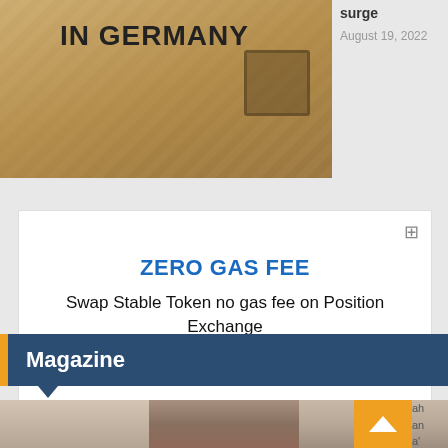[Figure (photo): Cardboard box with 'IN GERMANY' text on a conveyor belt with striped background]
surge
August 19, 2022
[Figure (infographic): Advertisement box: ZERO GAS FEE - Swap Stable Token no gas fee on Position Exchange - bit.ly]
Magazine
[Figure (photo): Bottom strip of three portrait photos of people]
ah
an
a'